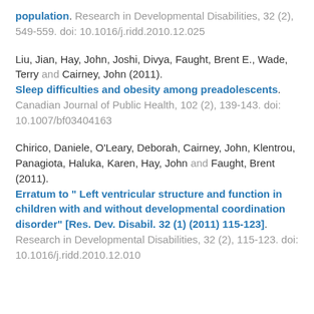population. Research in Developmental Disabilities, 32 (2), 549-559. doi: 10.1016/j.ridd.2010.12.025
Liu, Jian, Hay, John, Joshi, Divya, Faught, Brent E., Wade, Terry and Cairney, John (2011). Sleep difficulties and obesity among preadolescents. Canadian Journal of Public Health, 102 (2), 139-143. doi: 10.1007/bf03404163
Chirico, Daniele, O'Leary, Deborah, Cairney, John, Klentrou, Panagiota, Haluka, Karen, Hay, John and Faught, Brent (2011). Erratum to " Left ventricular structure and function in children with and without developmental coordination disorder" [Res. Dev. Disabil. 32 (1) (2011) 115-123]. Research in Developmental Disabilities, 32 (2), 115-123. doi: 10.1016/j.ridd.2010.12.010